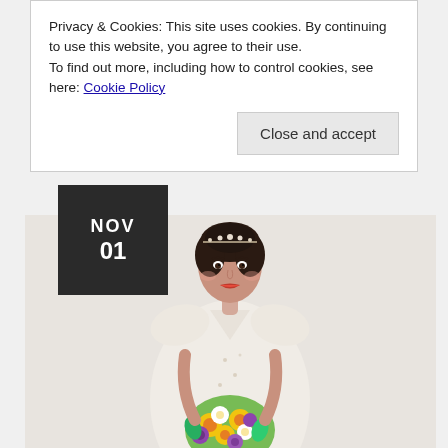Privacy & Cookies: This site uses cookies. By continuing to use this website, you agree to their use.
To find out more, including how to control cookies, see here: Cookie Policy
Close and accept
NOV
01
[Figure (photo): A bride in a white beaded/embellished wedding dress holding a colorful bouquet of purple, yellow, and white flowers. She has dark hair styled up with a crystal headpiece and is smiling at the camera against a light background.]